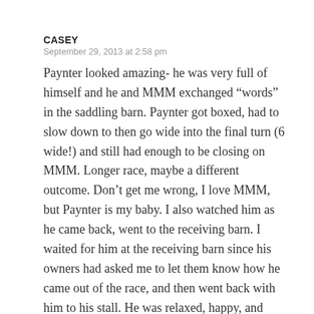CASEY
September 29, 2013 at 2:58 pm
Paynter looked amazing- he was very full of himself and he and MMM exchanged “words” in the saddling barn. Paynter got boxed, had to slow down to then go wide into the final turn (6 wide!) and still had enough to be closing on MMM. Longer race, maybe a different outcome. Don’t get me wrong, I love MMM, but Paynter is my baby. I also watched him as he came back, went to the receiving barn. I waited for him at the receiving barn since his owners had asked me to let them know how he came out of the race, and then went back with him to his stall. He was relaxed, happy, and STARVING. He was happy to see me,